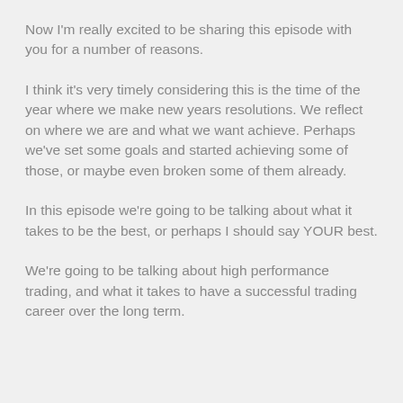Now I'm really excited to be sharing this episode with you for a number of reasons.
I think it's very timely considering this is the time of the year where we make new years resolutions. We reflect on where we are and what we want achieve. Perhaps we've set some goals and started achieving some of those, or maybe even broken some of them already.
In this episode we're going to be talking about what it takes to be the best, or perhaps I should say YOUR best.
We're going to be talking about high performance trading, and what it takes to have a successful trading career over the long term.